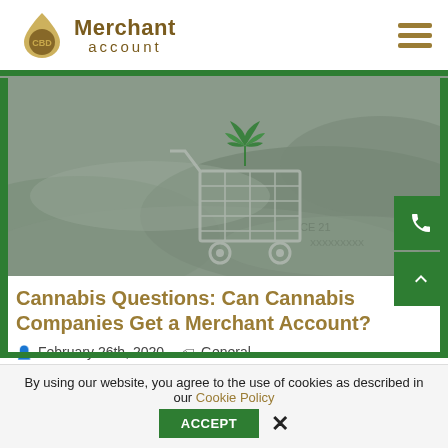[Figure (logo): CBD Merchant Account logo with gold drop icon and text]
[Figure (photo): Shopping cart with cannabis leaf on top of US dollar bills]
Cannabis Questions: Can Cannabis Companies Get a Merchant Account?
February 26th, 2020   General   0 Comments
By using our website, you agree to the use of cookies as described in our Cookie Policy